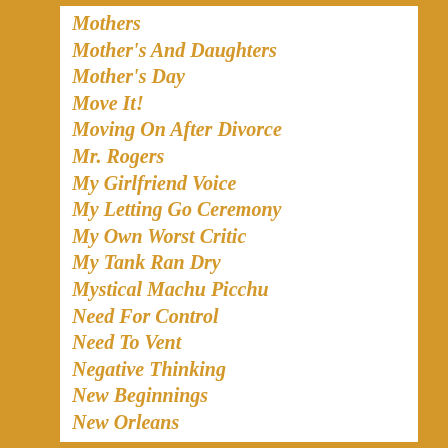Mothers
Mother's And Daughters
Mother's Day
Move It!
Moving On After Divorce
Mr. Rogers
My Girlfriend Voice
My Letting Go Ceremony
My Own Worst Critic
My Tank Ran Dry
Mystical Machu Picchu
Need For Control
Need To Vent
Negative Thinking
New Beginnings
New Orleans
New Year New You
No Blame Games